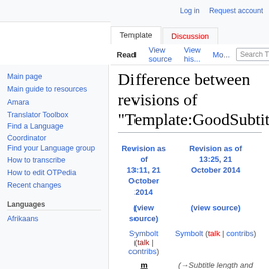Log in  Request account
Template | Discussion | Read | View source | View history | More
Difference between revisions of "Template:GoodSubtitle..."
Main page
Main guide to resources
Amara
Translator Toolbox
Find a Language Coordinator
Find your Language group
How to transcribe
How to edit OTPedia
Recent changes
Languages
Afrikaans
| Revision as of 13:11, 21 October 2014 | Revision as of 13:25, 21 October 2014 |
| --- | --- |
| (view source) | (view source) |
| Symbolt (talk | contribs) | Symbolt (talk | contribs) |
| m | (→Subtitle length and reading speed: Added info on extending... |
| ← Older edit |  |